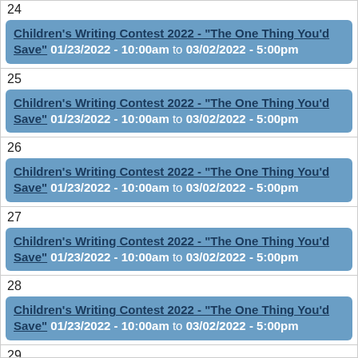24
Children's Writing Contest 2022 - "The One Thing You'd Save" 01/23/2022 - 10:00am to 03/02/2022 - 5:00pm
25
Children's Writing Contest 2022 - "The One Thing You'd Save" 01/23/2022 - 10:00am to 03/02/2022 - 5:00pm
26
Children's Writing Contest 2022 - "The One Thing You'd Save" 01/23/2022 - 10:00am to 03/02/2022 - 5:00pm
27
Children's Writing Contest 2022 - "The One Thing You'd Save" 01/23/2022 - 10:00am to 03/02/2022 - 5:00pm
28
Children's Writing Contest 2022 - "The One Thing You'd Save" 01/23/2022 - 10:00am to 03/02/2022 - 5:00pm
29